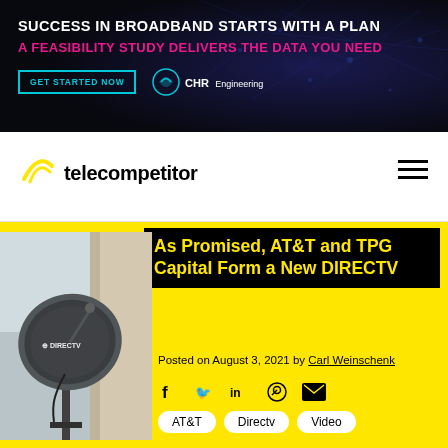[Figure (screenshot): Dark navy banner advertisement for CHR Engineering broadband feasibility study. White text: SUCCESS IN BROADBAND STARTS WITH A PLAN. Pink/magenta text: A FEASIBILITY STUDY DELIVERS THE DATA YOU NEED. Teal bordered button: GET STARTED NOW. CHR Engineering logo.]
[Figure (logo): Telecompetitor logo with yellow arc/satellite icon above the wordmark on white background, with hamburger menu icon on the right.]
As Promised, AT&T and TPG Capital Form a New DIRECTV
[Figure (photo): Photo of a DIRECTV satellite dish mounted on the side of a building]
Posted on August 3, 2021 by Carl Weinschenk
AT&T
Directv
Video